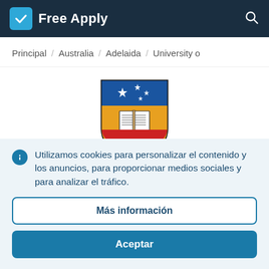Free Apply
Principal / Australia / Adelaida / University o
[Figure (logo): University of Adelaide shield crest logo with blue top section showing Southern Cross stars and gold/yellow lower section with open book]
Utilizamos cookies para personalizar el contenido y los anuncios, para proporcionar medios sociales y para analizar el tráfico.
Más información
Aceptar